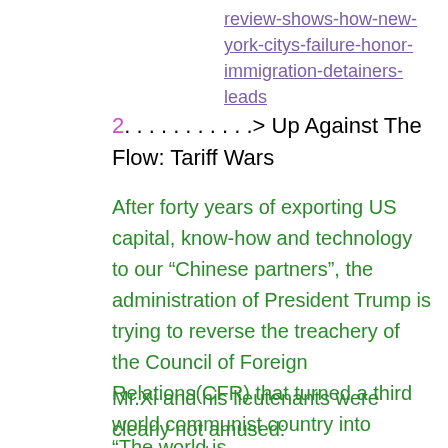review-shows-how-new-york-citys-failure-honor-immigration-detainers-leads
2. ............> Up Against The Flow: Tariff Wars
After forty years of exporting US capital, know-how and technology to our “Chinese partners”, the administration of President Trump is trying to reverse the treachery of the Council of Foreign Relations(CFR) that turned a third world communist country into world’s 2nd superpower, and left thousands of American cities into drug-infested shanty towns, by using tariffs to reduce current account balance.
Mr.Xi and his lieutenants were clearly not amused:
“The world is...